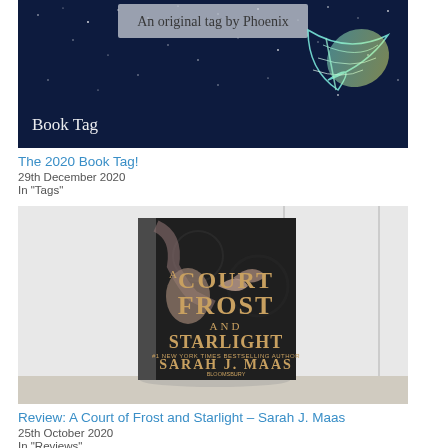[Figure (photo): A dark blue starry night sky banner image with text 'An original tag by Phoenix' and 'Book Tag' in script font, with a colorful feather illustration on the right side.]
The 2020 Book Tag!
29th December 2020
In "Tags"
[Figure (photo): A photograph of the book 'A Court of Frost and Starlight' by Sarah J. Maas, showing the book cover with a woman and dark ornate design, placed on a white surface.]
Review: A Court of Frost and Starlight – Sarah J. Maas
25th October 2020
In "Reviews"